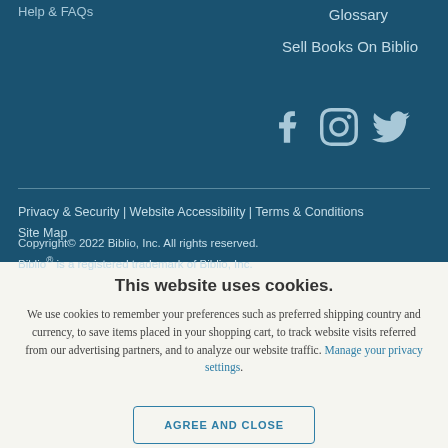Help & FAQs
Glossary
Sell Books On Biblio
[Figure (illustration): Social media icons: Facebook, Instagram, Twitter in light blue on dark teal background]
Privacy & Security | Website Accessibility | Terms & Conditions
Site Map
Copyright© 2022 Biblio, Inc. All rights reserved.
Biblio® is a registered trademark of Biblio, Inc.
This website uses cookies.
We use cookies to remember your preferences such as preferred shipping country and currency, to save items placed in your shopping cart, to track website visits referred from our advertising partners, and to analyze our website traffic. Manage your privacy settings.